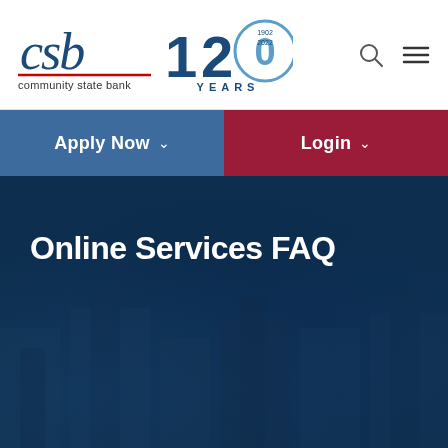[Figure (logo): CSB Community State Bank logo with 120 Years anniversary badge (1902-2022)]
Apply Now   Login
Online Services FAQ